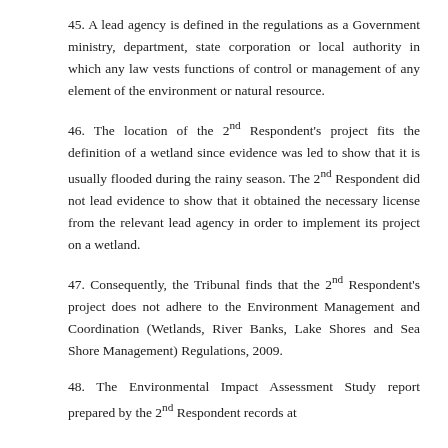45. A lead agency is defined in the regulations as a Government ministry, department, state corporation or local authority in which any law vests functions of control or management of any element of the environment or natural resource.
46. The location of the 2nd Respondent's project fits the definition of a wetland since evidence was led to show that it is usually flooded during the rainy season. The 2nd Respondent did not lead evidence to show that it obtained the necessary license from the relevant lead agency in order to implement its project on a wetland.
47. Consequently, the Tribunal finds that the 2nd Respondent's project does not adhere to the Environment Management and Coordination (Wetlands, River Banks, Lake Shores and Sea Shore Management) Regulations, 2009.
48. The Environmental Impact Assessment Study report prepared by the 2nd Respondent records at